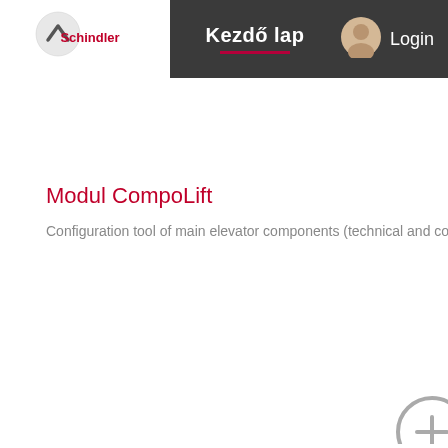[Figure (screenshot): Schindler logo: white circle with upward chevron arrow above red 'Schindler' text]
Kezdő lap
[Figure (illustration): User/login avatar icon in beige/tan color]
Login
Modul CompoLift
Configuration tool of main elevator components (technical and comme
[Figure (illustration): Gray circular icon with a plus/cross symbol, partially visible at bottom right corner]